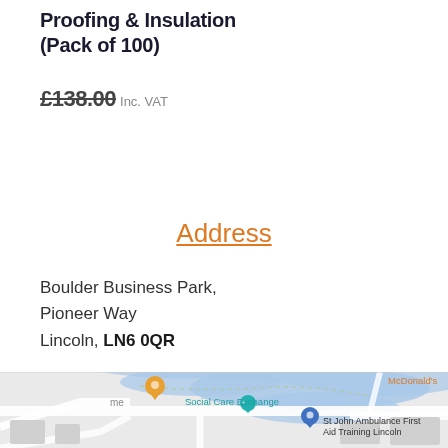Proofing & Insulation (Pack of 100)
£138.00 Inc. VAT
Address
Boulder Business Park,
Pioneer Way
Lincoln, LN6 0QR
[Figure (map): Google Maps screenshot showing Boulder Business Park area in Lincoln. Visible labels include McDonald's (top right), Social Care Exchange, St John Ambulance First Aid Training Lincoln, and a map pin. Blue water bodies and road network visible.]